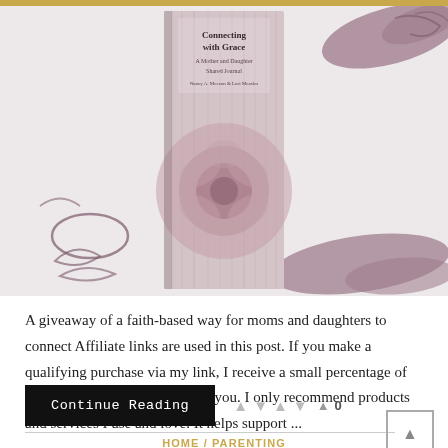[Figure (photo): Book cover for 'Connecting with Grace: A Mother and Daughter Shared Journal' on a decorative background with mauve brush strokes and abstract squiggles]
A giveaway of a faith-based way for moms and daughters to connect Affiliate links are used in this post. If you make a qualifying purchase via my link, I receive a small percentage of the sale at no additional cost to you. I only recommend products and services I use and love. It helps support ...
Continue Reading
0
HOME / PARENTING